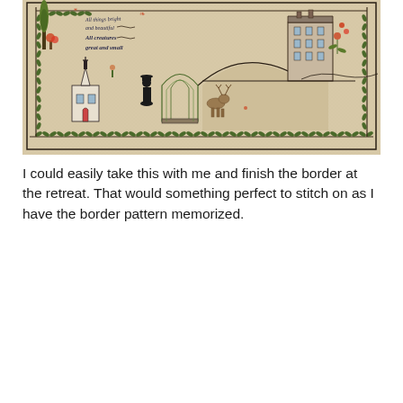[Figure (photo): Cross-stitch / embroidery sampler on linen fabric showing a village scene with a church, a tall house, trees, a figure in black, arched greenhouse, animals, and floral borders. Text stitched on sampler reads 'All things bright and beautiful, All creatures great and small'. A decorative leafy vine border runs along the bottom and right side of the sampler.]
I could easily take this with me and finish the border at the retreat.  That would something perfect to stitch on as I have the border pattern memorized.